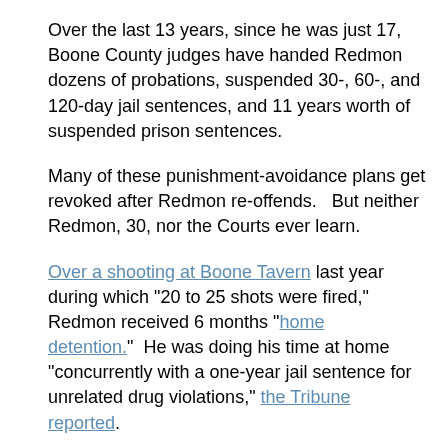Over the last 13 years, since he was just 17, Boone County judges have handed Redmon dozens of probations, suspended 30-, 60-, and 120-day jail sentences, and 11 years worth of suspended prison sentences.
Many of these punishment-avoidance plans get revoked after Redmon re-offends.   But neither Redmon, 30, nor the Courts ever learn.
Over a shooting at Boone Tavern last year during which "20 to 25 shots were fired," Redmon received 6 months "home detention."  He was doing his time at home "concurrently with a one-year jail sentence for unrelated drug violations," the Tribune reported.
Which means he should have been in jail, right?   But that question is hard to answer.  Redmon landed a "6-month credit for time served" that subtracted 12 months from 18 months of jail time -- and sent him home.
Given this convoluted math, it's doubtful even his own lawyers know why Malcolm Redmon is continually free to...